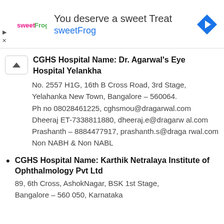[Figure (other): sweetFrog advertisement banner with logo, text 'You deserve a sweet Treat', 'sweetFrog', and a navigation arrow icon]
CGHS Hospital Name: Dr. Agarwal's Eye Hospital Yelankha
No. 2557 H1G, 16th B Cross Road, 3rd Stage, Yelahanka New Town, Bangalore – 560064.
Ph no 08028461225, cghsmou@dragarwal.com
Dheeraj ET-7338811880, dheeraj.e@dragarwal.com
Prashanth – 8884477917, prashanth.s@dragarwal.com
Non NABH & Non NABL
CGHS Hospital Name: Karthik Netralaya Institute of Ophthalmology Pvt Ltd
89, 6th Cross, AshokNagar, BSK 1st Stage, Bangalore – 560 050, Karnataka